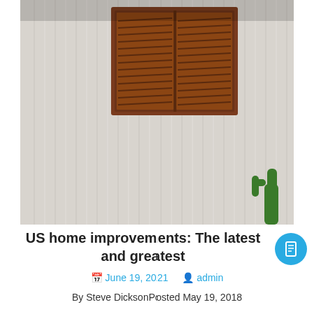[Figure (photo): Exterior of a white corrugated metal wall with a dark brown louvered wooden window shutter in the upper center. A small green cactus is visible in the lower right corner.]
US home improvements: The latest and greatest
June 19, 2021   admin
By Steve DicksonPosted May 19, 2018